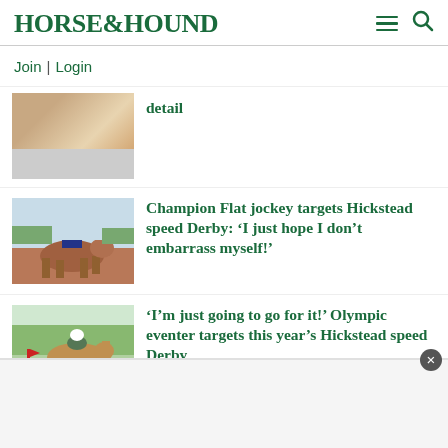HORSE&HOUND
Join | Login
[Figure (photo): Partial view of a horse and rider image, cropped at top]
detail
[Figure (photo): Jockey in red/pink helmet riding a chestnut horse on a racetrack]
Champion Flat jockey targets Hickstead speed Derby: 'I just hope I don't embarrass myself!'
[Figure (photo): Horse and rider jumping a cross-country fence with red flag]
'I'm just going to go for it!' Olympic eventer targets this year's Hickstead speed Derby